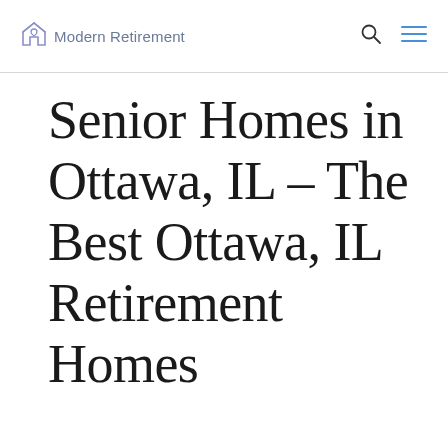Modern Retirement
Senior Homes in Ottawa, IL – The Best Ottawa, IL Retirement Homes